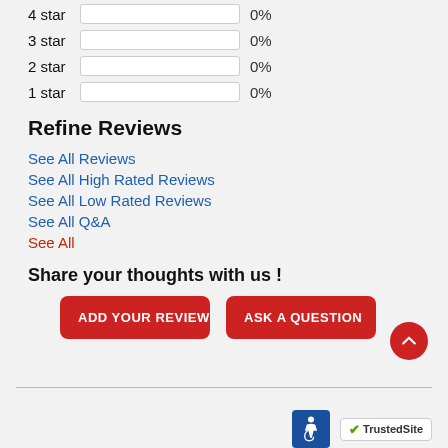4 star  0%
3 star  0%
2 star  0%
1 star  0%
Refine Reviews
See All Reviews
See All High Rated Reviews
See All Low Rated Reviews
See All Q&A
See All
Share your thoughts with us !
ADD YOUR REVIEW | ASK A QUESTION
[Figure (logo): Accessibility icon and TrustedSite badge in footer]